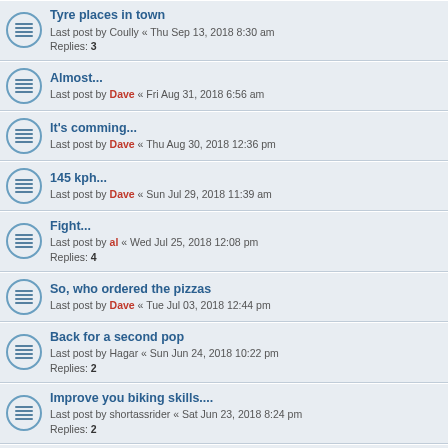Tyre places in town
Last post by Coully « Thu Sep 13, 2018 8:30 am
Replies: 3
Almost...
Last post by Dave « Fri Aug 31, 2018 6:56 am
It's comming...
Last post by Dave « Thu Aug 30, 2018 12:36 pm
145 kph...
Last post by Dave « Sun Jul 29, 2018 11:39 am
Fight...
Last post by al « Wed Jul 25, 2018 12:08 pm
Replies: 4
So, who ordered the pizzas
Last post by Dave « Tue Jul 03, 2018 12:44 pm
Back for a second pop
Last post by Hagar « Sun Jun 24, 2018 10:22 pm
Replies: 2
Improve you biking skills....
Last post by shortassrider « Sat Jun 23, 2018 8:24 pm
Replies: 2
soccer...
Last post by Dave « Sat May 19, 2018 3:50 pm
Spring time...
Last post by Dave « Wed May 02, 2018 11:23 pm
Replies: 2